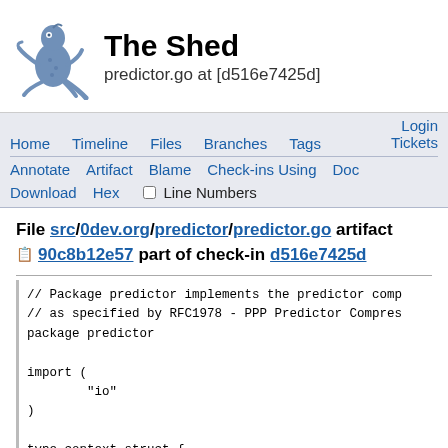[Figure (logo): The Shed mascot logo - a blue lizard/gecko illustration]
The Shed
predictor.go at [d516e7425d]
Home  Timeline  Files  Branches  Tags  Login  Tickets  Annotate  Artifact  Blame  Check-ins Using  Doc  Download  Hex  Line Numbers
File src/0dev.org/predictor/predictor.go artifact 90c8b12e57 part of check-in d516e7425d
// Package predictor implements the predictor comp
// as specified by RFC1978 - PPP Predictor Compres
package predictor

import (
        "io"
)

type context struct {